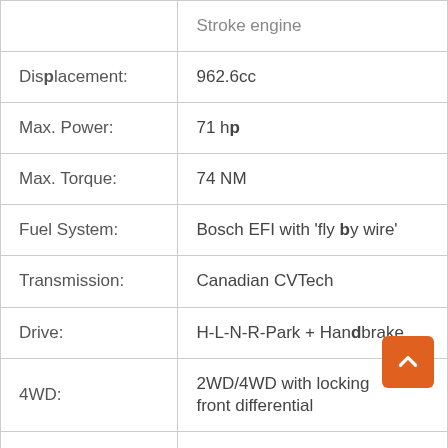| Displacement: | 962.6cc |
| Max. Power: | 71 hp |
| Max. Torque: | 74 NM |
| Fuel System: | Bosch EFI with 'fly by wire' |
| Transmission: | Canadian CVTech |
| Drive: | H-L-N-R-Park + Handbrake |
| 4WD: | 2WD/4WD with locking front differential |
| Rear Differential: | Limited Slip Differential |